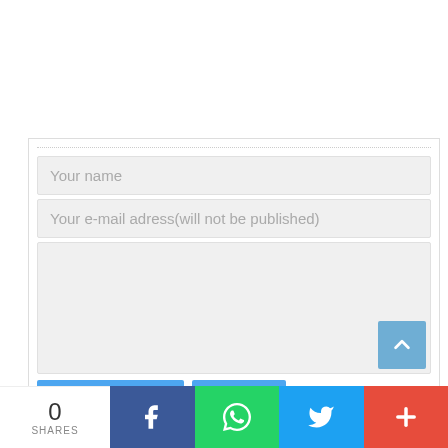[Figure (screenshot): Web comment form with fields: Your name, Your e-mail adress(will not be published), a text area, Post comment and Cancel buttons, and a scroll-to-top button. Below is a social sharing bar with 0 SHARES, Facebook, WhatsApp, Twitter, and more (+) icons.]
Your name
Your e-mail adress(will not be published)
Post comment
Cancel
0
SHARES